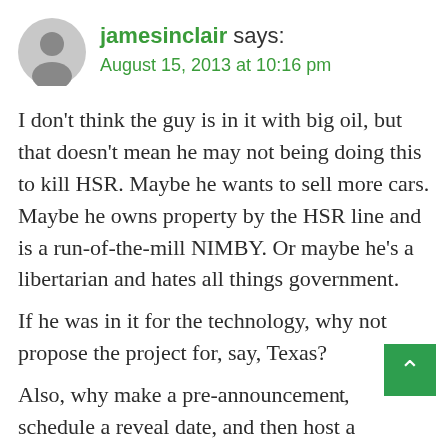jamesinclair says: August 15, 2013 at 10:16 pm
I don't think the guy is in it with big oil, but that doesn't mean he may not being doing this to kill HSR. Maybe he wants to sell more cars. Maybe he owns property by the HSR line and is a run-of-the-mill NIMBY. Or maybe he's a libertarian and hates all things government.
If he was in it for the technology, why not propose the project for, say, Texas?
Also, why make a pre-announcement, schedule a reveal date, and then host a